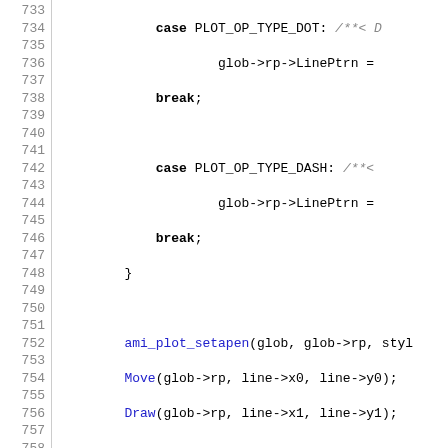[Figure (screenshot): Source code listing (C language) showing lines 733–762, including switch-case for PLOT_OP_TYPE_DOT and PLOT_OP_TYPE_DASH, calls to ami_plot_setapen, Move, Draw, pen width/height/pattern resets, return statement, closing brace, and start of a Doxygen comment block for a function that plots a rectangle.]